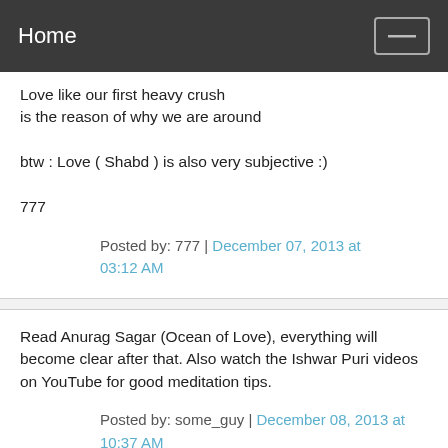Home
Love like our first heavy crush
is the reason of why we are around

btw : Love ( Shabd ) is also very subjective :)

777
Posted by: 777 | December 07, 2013 at 03:12 AM
Read Anurag Sagar (Ocean of Love), everything will become clear after that. Also watch the Ishwar Puri videos on YouTube for good meditation tips.
Posted by: some_guy | December 08, 2013 at 10:37 AM
Here are the meditation tips from Ishwar Puri for reference -